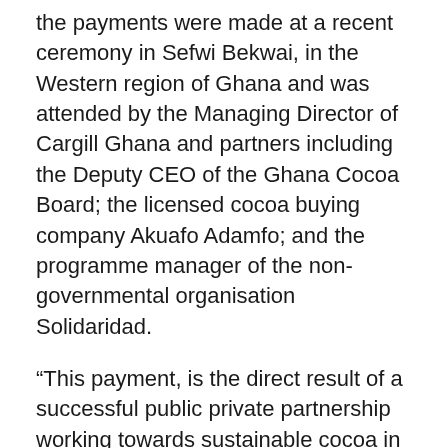the payments were made at a recent ceremony in Sefwi Bekwai, in the Western region of Ghana and was attended by the Managing Director of Cargill Ghana and partners including the Deputy CEO of the Ghana Cocoa Board; the licensed cocoa buying company Akuafo Adamfo; and the programme manager of the non-governmental organisation Solidaridad.
“This payment, is the direct result of a successful public private partnership working towards sustainable cocoa in Ghana”, Kojo Amoo-Gottfried, MD of Cargill Ghana was quoted in the statement as saying.
According to the Cargill executive, working with